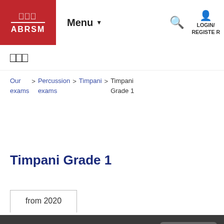ABRSM | Menu | LOGIN/REGISTER
[Figure (logo): ABRSM crown and text logo in red header bar]
Our exams > Percussion exams > Timpani > Timpani Grade 1
Timpani Grade 1
from 2020
This website uses cookies to improve your experience. By using our website, you are agreeing to our cookie policy and consent to our use of cookies. Find out more.
Close this message